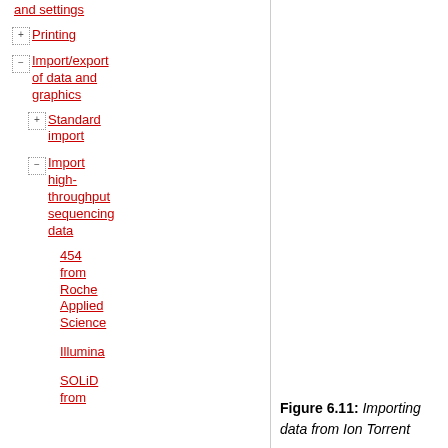and settings
Printing
Import/export of data and graphics
Standard import
Import high-throughput sequencing data
454 from Roche Applied Science
Illumina
SOLiD from
Figure 6.11: Importing data from Ion Torrent